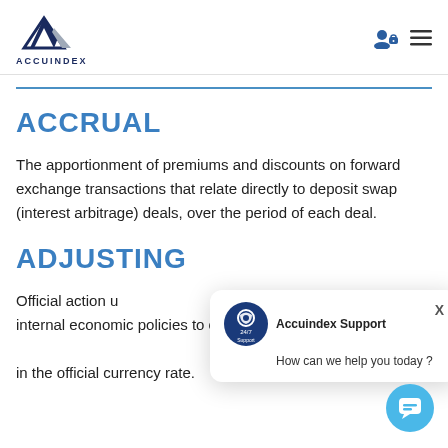ACCUINDEX
ACCRUAL
The apportionment of premiums and discounts on forward exchange transactions that relate directly to deposit swap (interest arbitrage) deals, over the period of each deal.
ADJUSTI...
Official action... internal economic policies to correct a payment imbalance... in the official currency rate.
[Figure (screenshot): Accuindex Support chat popup with 24/7 Support icon, title 'Accuindex Support', message 'How can we help you today?', and close X button. A blue chat bubble button in bottom right.]